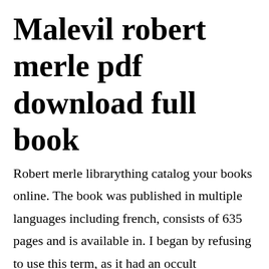Malevil robert merle pdf download full book
Robert merle librarything catalog your books online. The book was published in multiple languages including french, consists of 635 pages and is available in. I began by refusing to use this term, as it had an occult connotation and was certainly nonscientific by our standards. Read malevil roman by robert